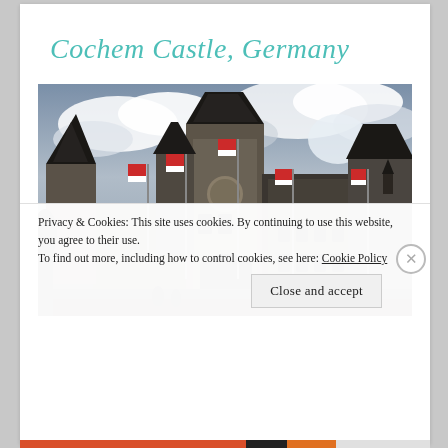Cochem Castle, Germany
[Figure (photo): Photograph of Cochem Castle in Germany showing gothic stone towers with dark spires, multiple red and white flags on flagpoles, and a dramatic cloudy sky in the background.]
Privacy & Cookies: This site uses cookies. By continuing to use this website, you agree to their use.
To find out more, including how to control cookies, see here: Cookie Policy
Close and accept